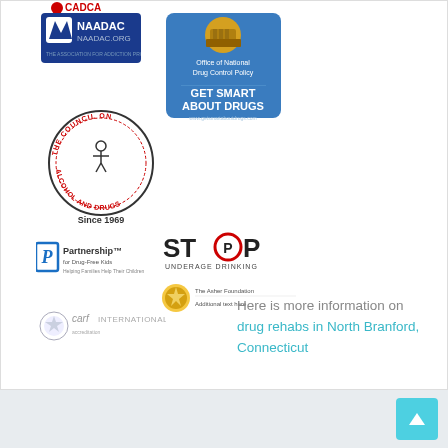[Figure (logo): CADCA logo at top]
[Figure (logo): NAADAC logo - blue rectangular badge with white icon and text NAADAC.org]
[Figure (logo): Office of National Drug Control Policy - Get Smart About Drugs badge with blue background and White House seal]
[Figure (logo): The Council on Alcohol and Drugs - circular logo with figure, text Since 1969]
[Figure (logo): Partnership for Drug-Free Kids logo with blue P icon]
[Figure (logo): STOP Underage Drinking logo with red circle for O]
[Figure (logo): Gold badge and The Asher Foundation logo]
[Figure (logo): CARF International logo with star icon]
Here is more information on drug rehabs in North Branford, Connecticut